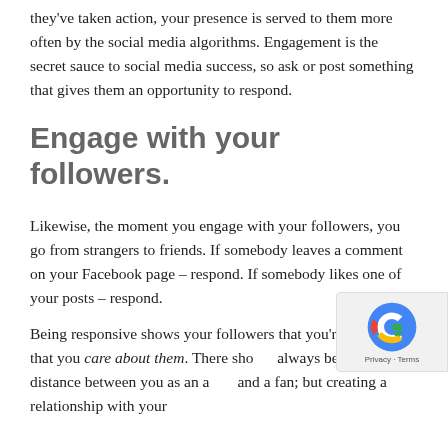they've taken action, your presence is served to them more often by the social media algorithms. Engagement is the secret sauce to social media success, so ask or post something that gives them an opportunity to respond.
Engage with your followers.
Likewise, the moment you engage with your followers, you go from strangers to friends. If somebody leaves a comment on your Facebook page – respond. If somebody likes one of your posts – respond.
Being responsive shows your followers that you're real, and that you care about them. There sho always be some distance between you as an a and a fan; but creating a relationship with your